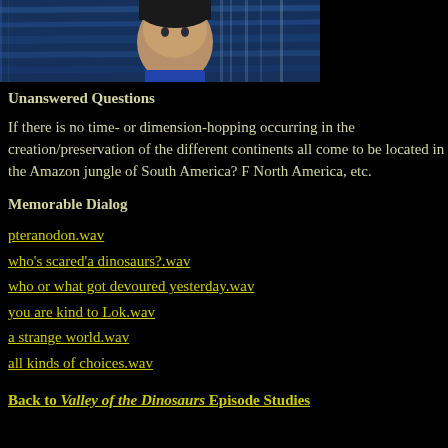[Figure (illustration): Anime-style screenshot showing a character's face/upper body against a blue background, cropped at top of page]
Unanswered Questions
If there is no time- or dimension-hopping occurring in the creation/preservation of the different continents all come to be located in the Amazon jungle of South America? From North America, etc.
Memorable Dialog
pteranodon.wav
who's scared'a dinosaurs?.wav
who or what got devoured yesterday.wav
you are kind to Lok.wav
a strange world.wav
all kinds of choices.wav
Back to Valley of the Dinosaurs Episode Studies